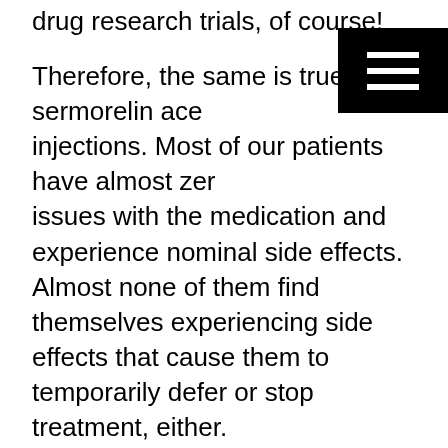drug research trials, of course!
Therefore, the same is true with sermorelin acetate injections. Most of our patients have almost zero issues with the medication and experience nominal side effects. Almost none of them find themselves experiencing side effects that cause them to temporarily defer or stop treatment, either.
Our goal here is to let you know about some of the symptoms and side effects you should pay attention to if you decide to take sermorelin acetate injections, especially when you first begin. Here, we will focus on side effects resulting from the injection itself but we will also discuss other problems associated with the use of sermorelin and what can happen if you abuse the hormone.
Can You Overdose on Sermorelin Acetate?
In general, sermorelin acetate injections are safer and you are less likely to experience overdose with